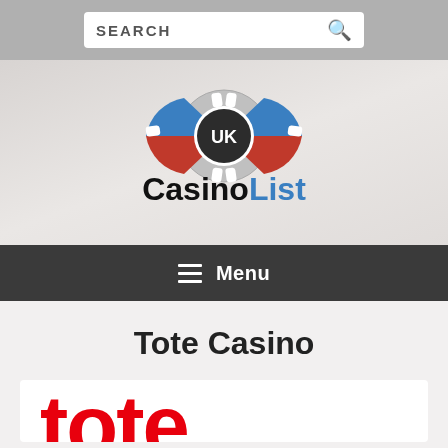[Figure (screenshot): Search bar with white rounded input box containing 'SEARCH' text and a magnifying glass icon on a grey background]
[Figure (logo): UK CasinoList logo: a casino chip with blue and red segments and 'UK' text in the center, above the text 'Casino' in black and 'List' in blue]
Menu
Tote Casino
[Figure (logo): Partial Tote Casino logo showing large red letters at bottom, cut off]